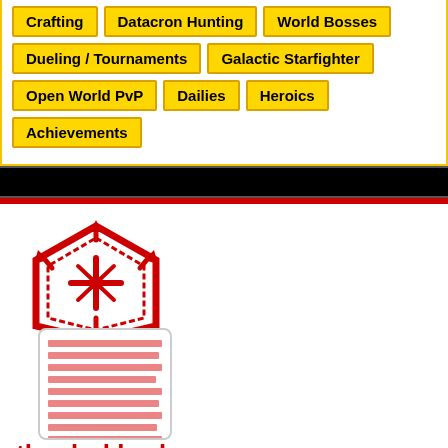Crafting
Datacron Hunting
World Bosses
Dueling / Tournaments
Galactic Starfighter
Open World PvP
Dailies
Heroics
Achievements
[Figure (logo): Sith Empire hexagon emblem in red with arrows and cross symbol, above a card with red horizontal lines]
the darklords
We are new.
Server: Satele Shan
Last updated February 19, 2022